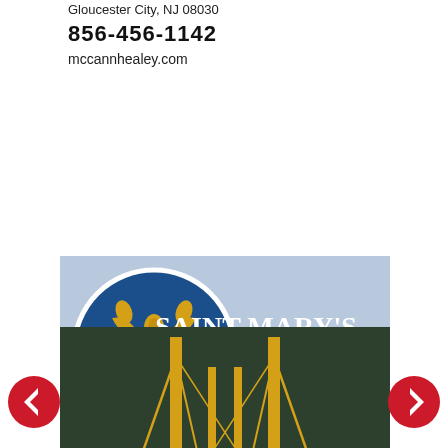Gloucester City, NJ 08030
856-456-1142
mccannhealey.com
[Figure (logo): Saint Mary's Catholic Church logo with blue circle containing gold fleur-de-lis on light blue background with church name and location]
St. Mary's Church News (space donated)
[Figure (logo): Epiphany logo with dark green background and gold bridge graphic with white text reading 'Epiphany']